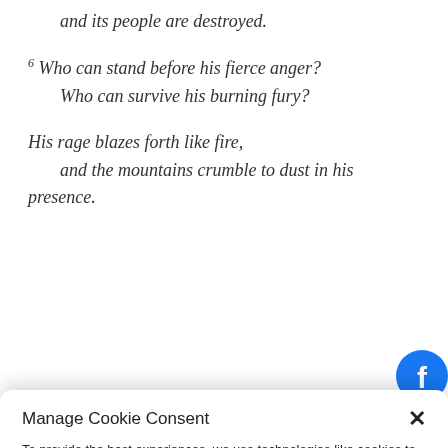and its people are destroyed.
6 Who can stand before his fierce anger? Who can survive his burning fury? His rage blazes forth like fire, and the mountains crumble to dust in his presence.
Manage Cookie Consent
To provide the best experiences, we use technologies like cookies to store and/or access device information. Consenting to these technologies will allow us to process data such as browsing behavior or unique IDs on this site. Not consenting or withdrawing consent, may adversely affect certain features and functions.
Accept
English
kie Policy